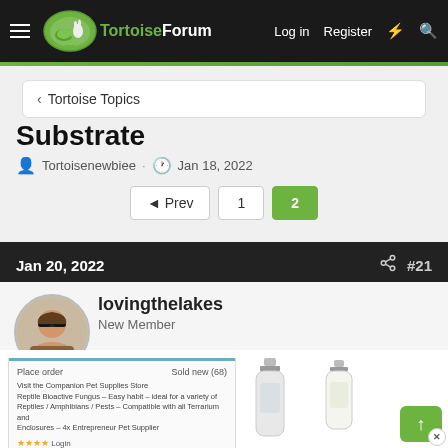TortoiseForum — Log in | Register
Tortoise Topics
Substrate
Tortoisenewbiee · Jan 18, 2022
◄ Prev  1  2
Jan 20, 2022  #21
lovingthelakes
New Member
[Figure (screenshot): Screenshot of an Amazon product listing for tortoise substrate, showing product details, star rating, and sold by information, with product images partially visible below.]